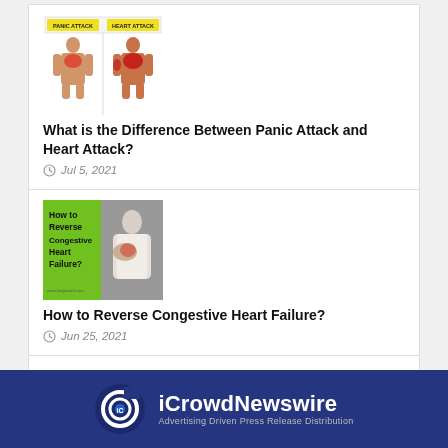[Figure (illustration): Side-by-side illustration comparing Panic Attack vs Heart Attack body symptoms with highlighted red areas]
What is the Difference Between Panic Attack and Heart Attack?
Jul 5, 2021
[Figure (photo): Image about How to Reverse Congestive Heart Failure showing a person clutching chest, with green text overlay]
How to Reverse Congestive Heart Failure?
Jun 25, 2021
Want your post to get featured? Click here
[Figure (logo): iCrowdNewswire logo — white spiral logo icon on dark navy blue background with tagline Advertising Driven Press Release Distribution]